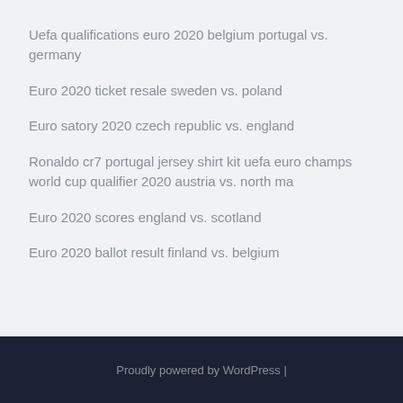Uefa qualifications euro 2020 belgium portugal vs. germany
Euro 2020 ticket resale sweden vs. poland
Euro satory 2020 czech republic vs. england
Ronaldo cr7 portugal jersey shirt kit uefa euro champs world cup qualifier 2020 austria vs. north ma
Euro 2020 scores england vs. scotland
Euro 2020 ballot result finland vs. belgium
Proudly powered by WordPress |